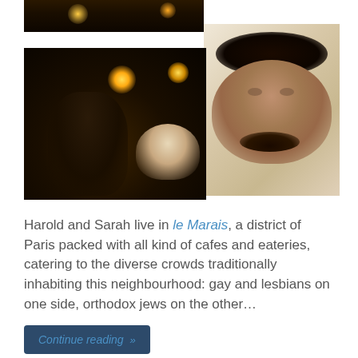[Figure (photo): Partial cropped photo at the top showing people at a dimly lit restaurant/gathering, dark tones]
[Figure (photo): Left photo: a man in dark lighting at a restaurant/dinner setting, night scene with warm light fixtures]
[Figure (photo): Right photo: close-up selfie of a man with dark hair and a mustache, bright/washed-out background]
Harold and Sarah live in le Marais, a district of Paris packed with all kind of cafes and eateries, catering to the diverse crowds traditionally inhabiting this neighbourhood: gay and lesbians on one side, orthodox jews on the other…
Continue reading »